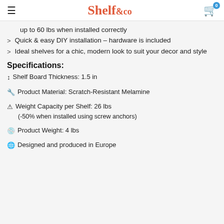Shelf & co
up to 60 lbs when installed correctly
Quick & easy DIY installation – hardware is included
Ideal shelves for a chic, modern look to suit your decor and style
Specifications:
Shelf Board Thickness: 1.5 in
Product Material: Scratch-Resistant Melamine
Weight Capacity per Shelf: 26 lbs
(-50% when installed using screw anchors)
Product Weight: 4 lbs
Designed and produced in Europe